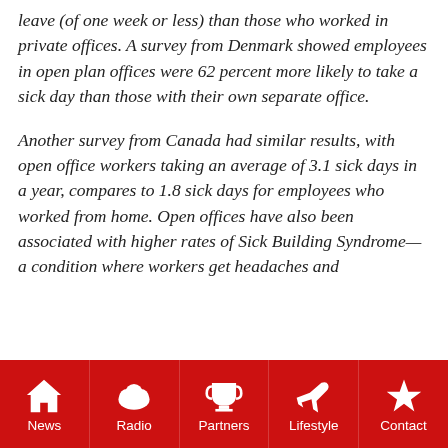leave (of one week or less) than those who worked in private offices. A survey from Denmark showed employees in open plan offices were 62 percent more likely to take a sick day than those with their own separate office.
Another survey from Canada had similar results, with open office workers taking an average of 3.1 sick days in a year, compares to 1.8 sick days for employees who worked from home. Open offices have also been associated with higher rates of Sick Building Syndrome—a condition where workers get headaches and
News | Radio | Partners | Lifestyle | Contact